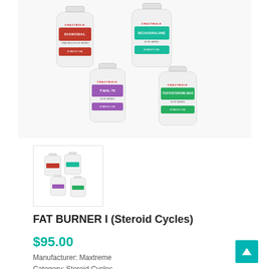[Figure (photo): Four CrazyBulk supplement bottles arranged in two rows: DIANOBAL (red label), DECKADRALONE (teal label) in back row; T-BAL 75 (purple label), TESTOSTERONE-MAX (green label) in front row]
[Figure (photo): Small thumbnail image showing the same four supplement bottles in miniature]
FAT BURNER I (Steroid Cycles)
$95.00
Manufacturer: Maxtreme
Category: Steroid Cycles